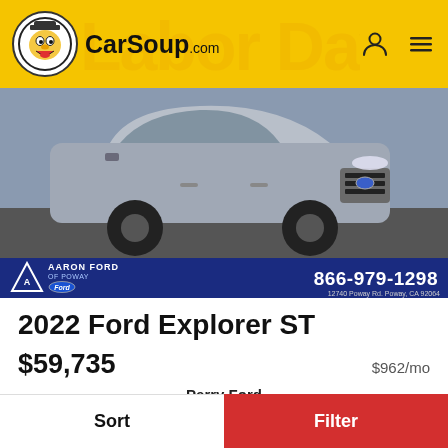CarSoup.com
[Figure (photo): 2022 Ford Explorer ST in silver/gray color with black wheels, shown from front-left angle. Below the car is an Aaron Ford of Poway dealer banner with phone 866-979-1298 and address 12740 Poway Rd, Poway, CA 92064]
2022 Ford Explorer ST
$59,735   $962/mo
Perry Ford
4.5 (1,798 reviews)
New   0 Mi.
Sort   Filter